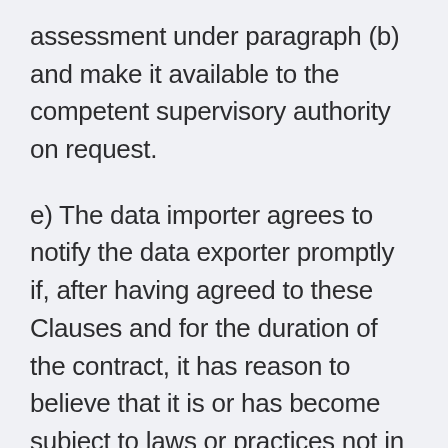assessment under paragraph (b) and make it available to the competent supervisory authority on request.
e) The data importer agrees to notify the data exporter promptly if, after having agreed to these Clauses and for the duration of the contract, it has reason to believe that it is or has become subject to laws or practices not in line with the requirements under paragraph (a), including following a change in the laws of the third country or a measure (such as a disclosure request) indicating an